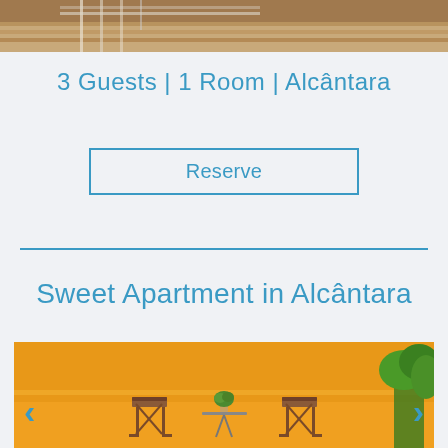[Figure (photo): Top portion of a photo showing wooden deck/stairs with railing, partially cropped]
3 Guests  |  1 Room |  Alcântara
Reserve
[Figure (photo): Photo of two chairs and a small table against a bright yellow/orange wall, with green plants visible on the right side]
Sweet Apartment in Alcântara